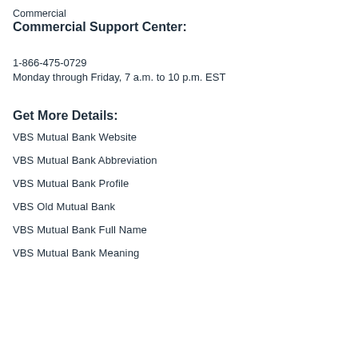Commercial
Commercial Support Center:
1-866-475-0729
Monday through Friday, 7 a.m. to 10 p.m. EST
Get More Details:
VBS Mutual Bank Website
VBS Mutual Bank Abbreviation
VBS Mutual Bank Profile
VBS Old Mutual Bank
VBS Mutual Bank Full Name
VBS Mutual Bank Meaning